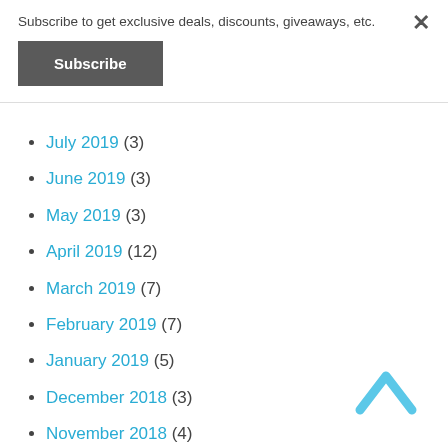Subscribe to get exclusive deals, discounts, giveaways, etc.
Subscribe
July 2019 (3)
June 2019 (3)
May 2019 (3)
April 2019 (12)
March 2019 (7)
February 2019 (7)
January 2019 (5)
December 2018 (3)
November 2018 (4)
October 2018 (3)